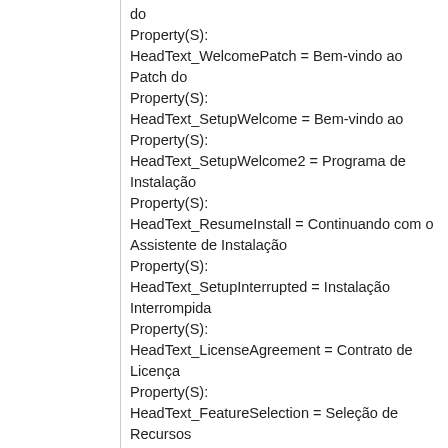do
Property(S):
HeadText_WelcomePatch = Bem-vindo ao Patch do
Property(S):
HeadText_SetupWelcome = Bem-vindo ao
Property(S):
HeadText_SetupWelcome2 = Programa de Instalação
Property(S):
HeadText_ResumeInstall = Continuando com o Assistente de Instalação
Property(S):
HeadText_SetupInterrupted = Instalação Interrompida
Property(S):
HeadText_LicenseAgreement = Contrato de Licença
Property(S):
HeadText_FeatureSelection = Seleção de Recursos